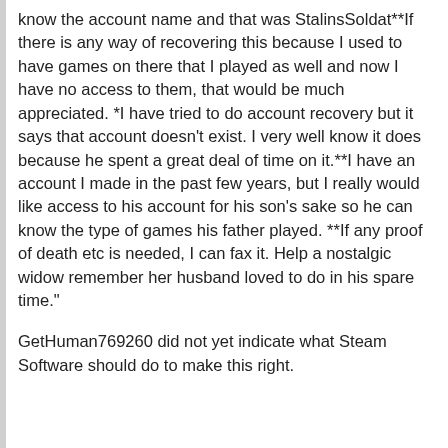know the account name and that was StalinsSoldat**If there is any way of recovering this because I used to have games on there that I played as well and now I have no access to them, that would be much appreciated. *I have tried to do account recovery but it says that account doesn't exist. I very well know it does because he spent a great deal of time on it.**I have an account I made in the past few years, but I really would like access to his account for his son's sake so he can know the type of games his father played. **If any proof of death etc is needed, I can fax it. Help a nostalgic widow remember her husband loved to do in his spare time."
GetHuman769260 did not yet indicate what Steam Software should do to make this right.